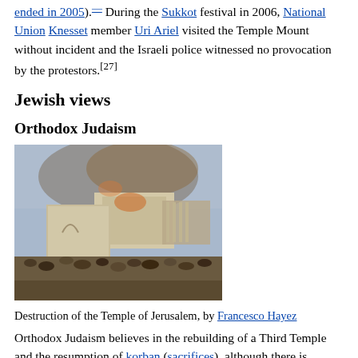ended in 2005). During the Sukkot festival in 2006, National Union Knesset member Uri Ariel visited the Temple Mount without incident and the Israeli police witnessed no provocation by the protestors.[27]
Jewish views
Orthodox Judaism
[Figure (photo): Painting depicting the Destruction of the Temple of Jerusalem, a dramatic historical scene with crowds, fire, and smoke around a large white stone structure.]
Destruction of the Temple of Jerusalem, by Francesco Hayez
Orthodox Judaism believes in the rebuilding of a Third Temple and the resumption of korban (sacrifices), although there is disagreement about how rebuilding should take place. Orthodox scholars and rabbinic authorities generally believe that rebuilding should occur in the eyes of the Lord, not through the hands of religious...